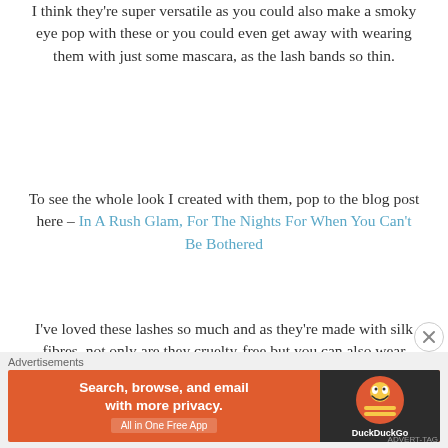I think they're super versatile as you could also make a smoky eye pop with these or you could even get away with wearing them with just some mascara, as the lash bands so thin.
To see the whole look I created with them, pop to the blog post here – In A Rush Glam, For The Nights For When You Can't Be Bothered
I've loved these lashes so much and as they're made with silk fibres, not only are they cruelty-free but you can also wear them around 10 times each. That's providing that you keep them in good shape and for less than £10 a pair – that's more than value for your
[Figure (screenshot): DuckDuckGo advertisement banner: orange background with text 'Search, browse, and email with more privacy. All in One Free App' and DuckDuckGo logo on dark background. Labeled 'Advertisements' above.]